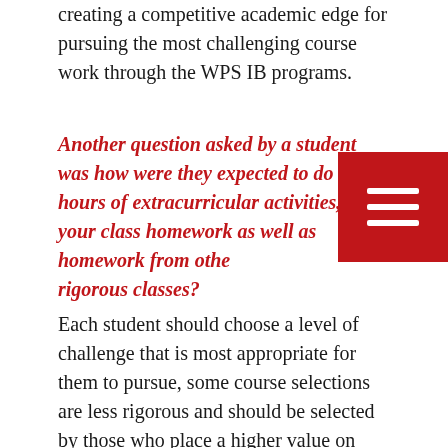creating a competitive academic edge for pursuing the most challenging course work through the WPS IB programs.
Another question asked by a student was how were they expected to do 2 hours of extracurricular activities, plus your class homework as well as homework from other rigorous classes?
Each student should choose a level of challenge that is most appropriate for them to pursue, some course selections are less rigorous and should be selected by those who place a higher value on extra curricular activities. WPS provides a curriculum to suit everyone's desired level of rigor. Students highly involved in athletics, robotics, theatre and so on have moved through AP Human Geography with great success because of their desire for rigor both within and outside of the